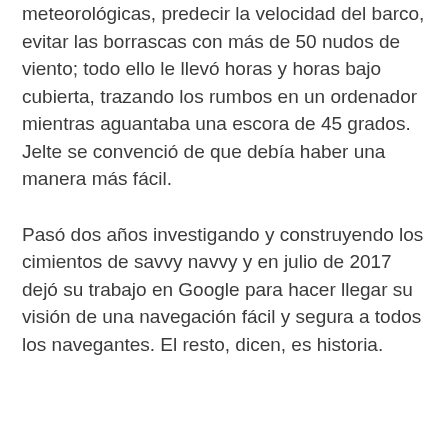meteorológicas, predecir la velocidad del barco, evitar las borrascas con más de 50 nudos de viento; todo ello le llevó horas y horas bajo cubierta, trazando los rumbos en un ordenador mientras aguantaba una escora de 45 grados. Jelte se convenció de que debía haber una manera más fácil.
Pasó dos años investigando y construyendo los cimientos de savvy navvy y en julio de 2017 dejó su trabajo en Google para hacer llegar su visión de una navegación fácil y segura a todos los navegantes. El resto, dicen, es historia.